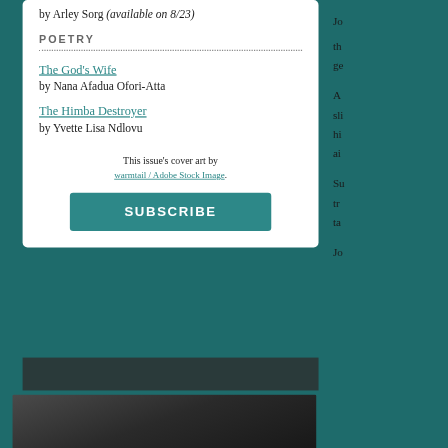by Arley Sorg (available on 8/23)
POETRY
The God's Wife by Nana Afadua Ofori-Atta
The Himba Destroyer by Yvette Lisa Ndlovu
This issue's cover art by
warmtail / Adobe Stock Image.
SUBSCRIBE
Jo
th
ge
A
sli
hi
ai
Su
tr
ta
Jo
[Figure (photo): Dark grayscale photo visible at bottom of page]